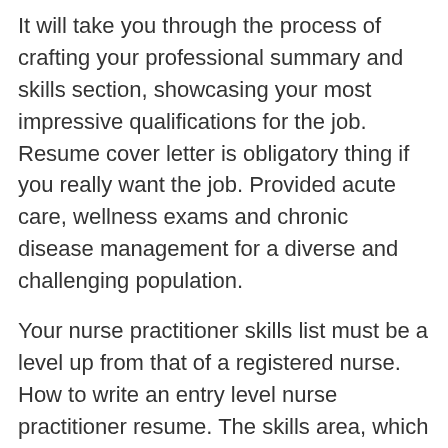It will take you through the process of crafting your professional summary and skills section, showcasing your most impressive qualifications for the job. Resume cover letter is obligatory thing if you really want the job. Provided acute care, wellness exams and chronic disease management for a diverse and challenging population.
Your nurse practitioner skills list must be a level up from that of a registered nurse. How to write an entry level nurse practitioner resume. The skills area, which should be at the top of your resume after the career summary.
These resume samples are professionally designed making them effective for job